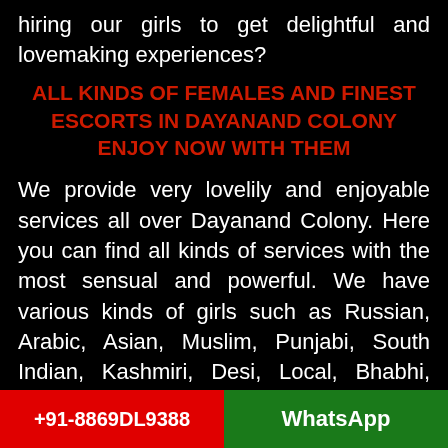hiring our girls to get delightful and lovemaking experiences?
ALL KINDS OF FEMALES AND FINEST ESCORTS IN DAYANAND COLONY ENJOY NOW WITH THEM
We provide very lovelily and enjoyable services all over Dayanand Colony. Here you can find all kinds of services with the most sensual and powerful. We have various kinds of girls such as Russian, Arabic, Asian, Muslim, Punjabi, South Indian, Kashmiri, Desi, Local, Bhabhi, Mallu, Milfs, Aunty, College Girls, Teenagers, Air Hostess, Model, Celebrity, and VIPs, High
+91-8869DL9388   WhatsApp